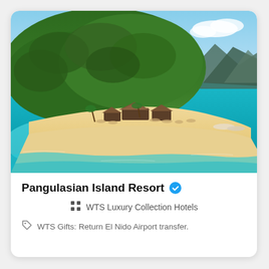[Figure (photo): Aerial photograph of Pangulasian Island Resort showing a lush green island with a curved sandy beach, turquoise/teal coral reef waters, resort buildings with thatched roofs along the beach, and mountains visible in the background under a blue sky.]
Pangulasian Island Resort ✓
WTS Luxury Collection Hotels
WTS Gifts: Return El Nido Airport transfer.